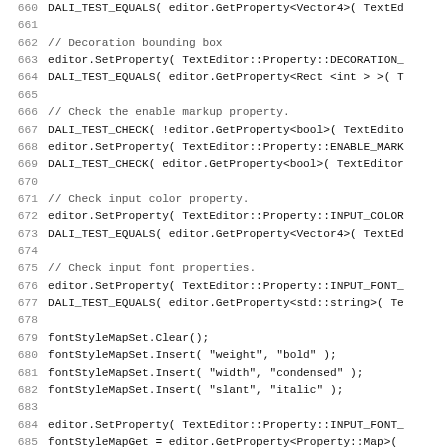Source code listing, lines 660–691+, showing C++ test code for TextEditor property testing using DALI_TEST_EQUALS, DALI_TEST_CHECK, SetProperty, GetProperty calls.